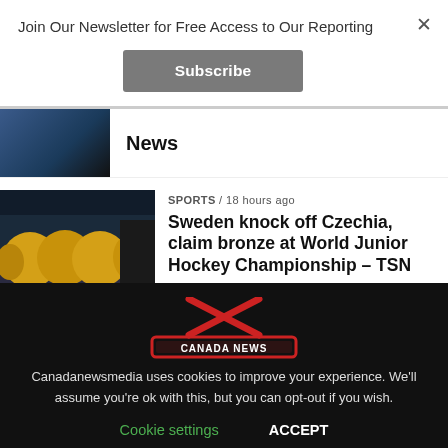Join Our Newsletter for Free Access to Our Reporting
Subscribe
News
SPORTS / 18 hours ago
Sweden knock off Czechia, claim bronze at World Junior Hockey Championship – TSN
[Figure (logo): Canada News Media logo on dark background with red X/hockey stick crossed graphic]
Canadanewsmedia uses cookies to improve your experience. We'll assume you're ok with this, but you can opt-out if you wish.
Cookie settings    ACCEPT